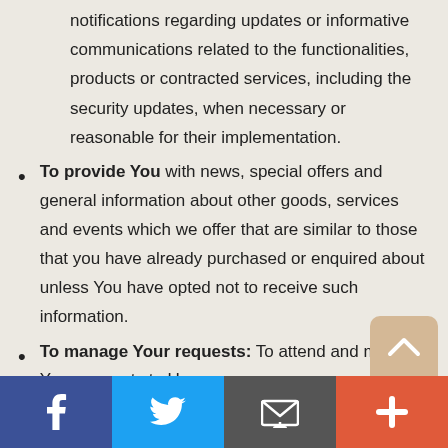notifications regarding updates or informative communications related to the functionalities, products or contracted services, including the security updates, when necessary or reasonable for their implementation.
To provide You with news, special offers and general information about other goods, services and events which we offer that are similar to those that you have already purchased or enquired about unless You have opted not to receive such information.
To manage Your requests: To attend and manage Your requests to Us.
Facebook | Twitter | Email | More